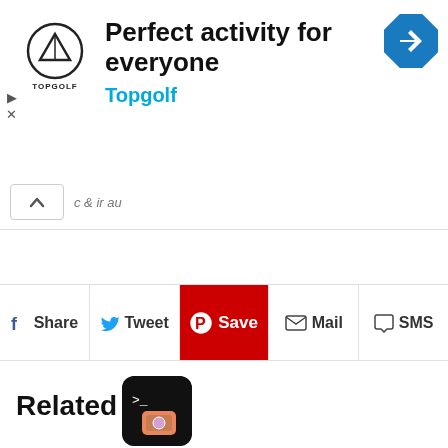[Figure (screenshot): Topgolf advertisement banner with logo, headline 'Perfect activity for everyone', subtitle 'Topgolf', and navigation arrow icon]
[Figure (screenshot): Social sharing toolbar with Share, Tweet, Save (Pinterest, red), Mail, and SMS buttons]
Related
[Figure (screenshot): Related article thumbnail: dark circular icon with terminal and photos app icons]
How to Download iCloud Photos via the Command Line
[Figure (screenshot): Related article thumbnail: iOS settings screenshot with red circle annotation]
How to Leave the iOS 16 Beta Testing Program